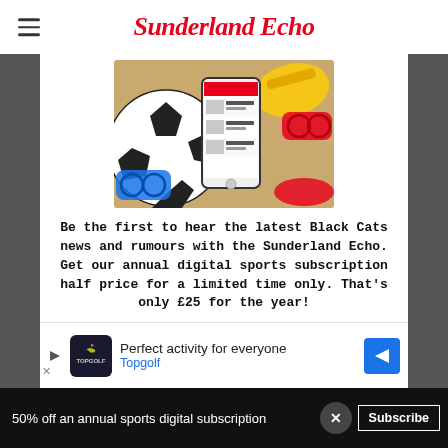Sunderland Echo
[Figure (photo): A smartphone displaying the Sunderland Echo app, surrounded by a football, sunglasses, and beach items on sand.]
Be the first to hear the latest Black Cats news and rumours with the Sunderland Echo. Get our annual digital sports subscription half price for a limited time only. That's only £25 for the year!
[Figure (infographic): Advertisement banner for Topgolf: 'Perfect activity for everyone' with Topgolf logo and navigation icon.]
50% off an annual sports digital subscription  Subscribe